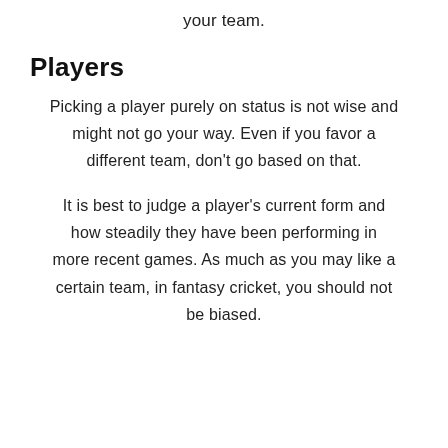your team.
Players
Picking a player purely on status is not wise and might not go your way. Even if you favor a different team, don't go based on that.
It is best to judge a player's current form and how steadily they have been performing in more recent games. As much as you may like a certain team, in fantasy cricket, you should not be biased.